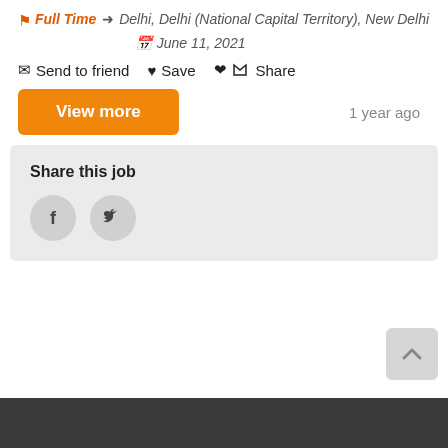Full Time  Delhi, Delhi (National Capital Territory), New Delhi  June 11, 2021
Send to friend  Save  Share
View more
1 year ago
Share this job
[Figure (infographic): Facebook and Twitter social share icons as grey circles with f and bird logo]
[Figure (other): Back to top button - grey square with upward chevron arrow]